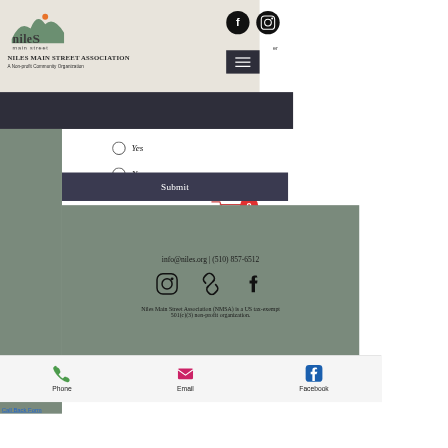[Figure (logo): Niles Main Street logo with mountain/hills silhouette and orange sun dot]
NILES MAIN STREET ASSOCIATION
A Non-profit Community Organization
[Figure (screenshot): Facebook and Instagram social icons (black circles with white icons) in top header]
[Figure (screenshot): Hamburger menu button (dark background with three white lines)]
[Figure (screenshot): Shopping cart icon with red badge showing 0]
Yes
No
Submit
info@niles.org | (510) 857-6512
[Figure (screenshot): Instagram, link/chain, and Facebook social media icons in footer]
Niles Main Street Association (NMSA) is a US tax-exempt 501(c)(3) non-profit organization.
Phone
Email
Facebook
Call Back Form